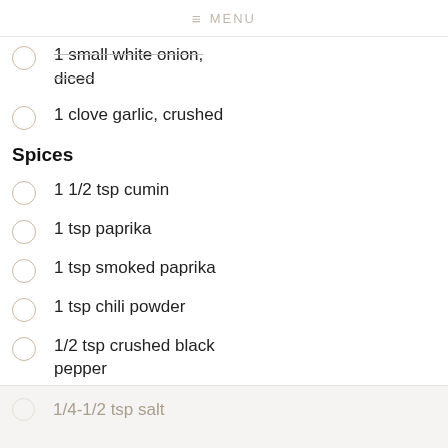≡ MENU
1 small white onion, diced
1 clove garlic, crushed
Spices
1 1/2 tsp cumin
1 tsp paprika
1 tsp smoked paprika
1 tsp chili powder
1/2 tsp crushed black pepper
1/4 tsp cayenne pepper
1/4-1/2 tsp salt